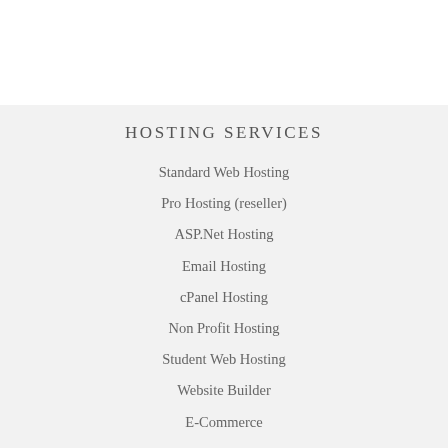HOSTING SERVICES
Standard Web Hosting
Pro Hosting (reseller)
ASP.Net Hosting
Email Hosting
cPanel Hosting
Non Profit Hosting
Student Web Hosting
Website Builder
E-Commerce
VPS & CLOUD
VPS Home